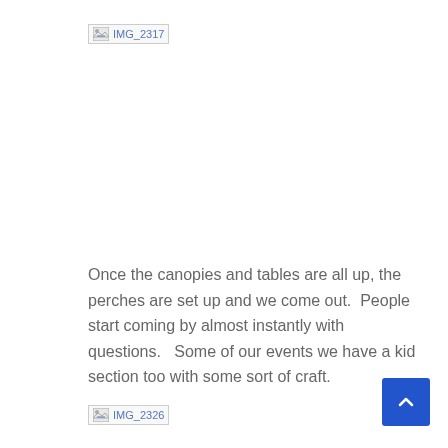[Figure (photo): Broken/missing image placeholder labeled IMG_2317]
Once the canopies and tables are all up, the perches are set up and we come out.  People start coming by almost instantly with questions.   Some of our events we have a kid section too with some sort of craft.
[Figure (photo): Broken/missing image placeholder labeled IMG_2326]